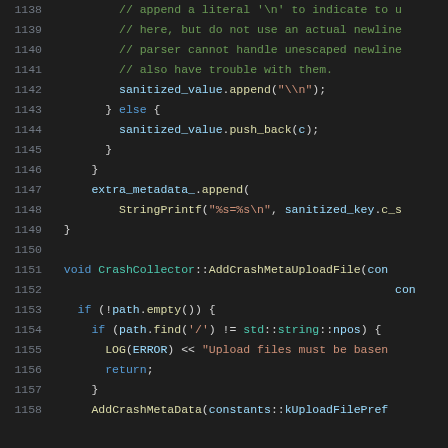[Figure (screenshot): Source code viewer showing C++ code lines 1138–1158 with syntax highlighting on dark background. Lines include comments about newline handling, sanitized_value operations, extra_metadata_ append with StringPrintf, a function definition for CrashCollector::AddCrashMetaUploadFile, path checks, LOG(ERROR) output, return statement, and AddCrashMetaData call.]